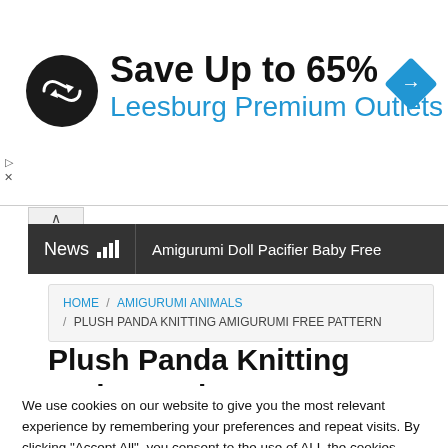[Figure (infographic): Advertisement banner: circular logo with arrows icon, 'Save Up to 65%' in bold black text, 'Leesburg Premium Outlets' in blue text, blue diamond navigation icon on right]
News | Amigurumi Doll Pacifier Baby Free
HOME / AMIGURUMI ANIMALS / PLUSH PANDA KNITTING AMIGURUMI FREE PATTERN
Plush Panda Knitting Amigurumi
We use cookies on our website to give you the most relevant experience by remembering your preferences and repeat visits. By clicking "Accept All", you consent to the use of ALL the cookies. However, you may visit "Cookie Settings" to provide a controlled consent.